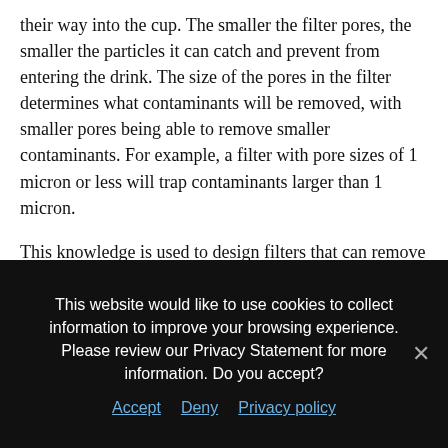their way into the cup. The smaller the filter pores, the smaller the particles it can catch and prevent from entering the drink. The size of the pores in the filter determines what contaminants will be removed, with smaller pores being able to remove smaller contaminants. For example, a filter with pore sizes of 1 micron or less will trap contaminants larger than 1 micron.
This knowledge is used to design filters that can remove specific contaminants. Filtration processes include particle filtration, microfiltration, ultrafiltration,
This website would like to use cookies to collect information to improve your browsing experience. Please review our Privacy Statement for more information. Do you accept?
Accept  Deny  Privacy policy